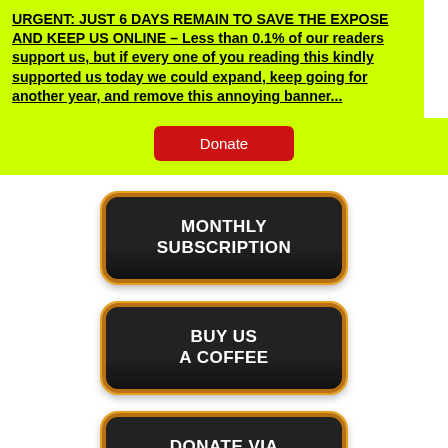URGENT: JUST 6 DAYS REMAIN TO SAVE THE EXPOSE AND KEEP US ONLINE – Less than 0.1% of our readers support us, but if every one of you reading this kindly supported us today we could expand, keep going for another year, and remove this annoying banner...
[Figure (other): Red Donate button]
[Figure (other): Black button with gold border reading MONTHLY SUBSCRIPTION]
[Figure (other): Black button with gold border reading BUY US A COFFEE]
[Figure (other): Black button with gold border reading DONATE VIA KO-FI.COM]
[Figure (other): Partially visible black button with gold border at bottom of page, reading DONATE (partially cut off)]
[Figure (other): Teal circular chat badge with 29 notification count]